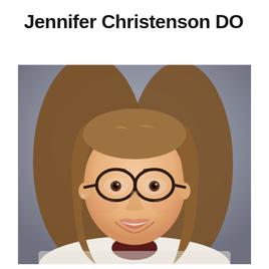Jennifer Christenson DO
[Figure (photo): Professional headshot of Jennifer Christenson DO, a woman with long brown hair and dark-framed round glasses, smiling, wearing a white knit sweater with a dark undershirt, against a gray background.]